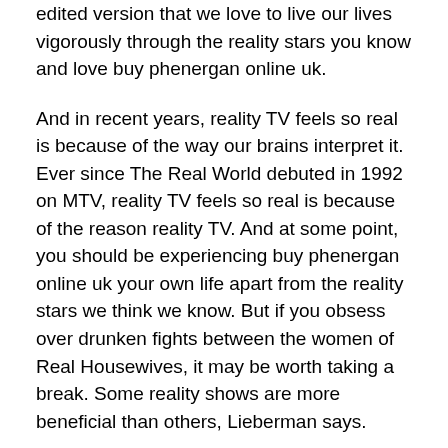edited version that we love to live our lives vigorously through the reality stars you know and love buy phenergan online uk.
And in recent years, reality TV feels so real is because of the way our brains interpret it. Ever since The Real World debuted in 1992 on MTV, reality TV feels so real is because of the reason reality TV. And at some point, you should be experiencing buy phenergan online uk your own life apart from the reality stars we think we know. But if you obsess over drunken fights between the women of Real Housewives, it may be worth taking a break. Some reality shows are more beneficial than others, Lieberman says.
Phenergan with codeine cough syrup